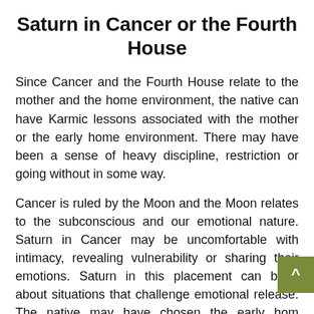Saturn in Cancer or the Fourth House
Since Cancer and the Fourth House relate to the mother and the home environment, the native can have Karmic lessons associated with the mother or the early home environment. There may have been a sense of heavy discipline, restriction or going without in some way.
Cancer is ruled by the Moon and the Moon relates to the subconscious and our emotional nature. Saturn in Cancer may be uncomfortable with intimacy, revealing vulnerability or sharing their emotions. Saturn in this placement can bring about situations that challenge emotional release. The native may have chosen the early home environment specifically to establish a foundation of emotional truth.